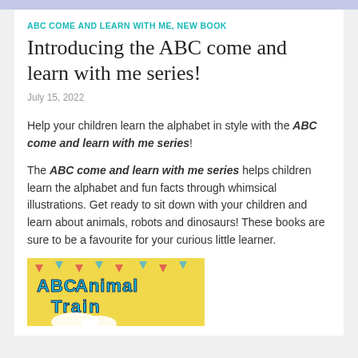ABC COME AND LEARN WITH ME, NEW BOOK
Introducing the ABC come and learn with me series!
July 15, 2022
Help your children learn the alphabet in style with the ABC come and learn with me series!
The ABC come and learn with me series helps children learn the alphabet and fun facts through whimsical illustrations. Get ready to sit down with your children and learn about animals, robots and dinosaurs! These books are sure to be a favourite for your curious little learner.
[Figure (illustration): Book cover image showing 'ABC Animal Train' text on a yellow background with colourful triangular decorations]